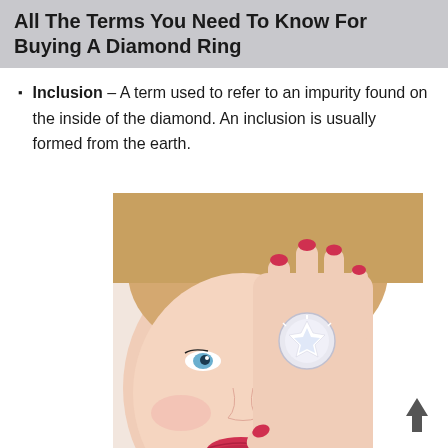All The Terms You Need To Know For Buying A Diamond Ring
Inclusion – A term used to refer to an impurity found on the inside of the diamond. An inclusion is usually formed from the earth.
[Figure (photo): A blonde woman with blue eyes and red nails holding a large diamond ring up to her face, covering part of it with her hand.]